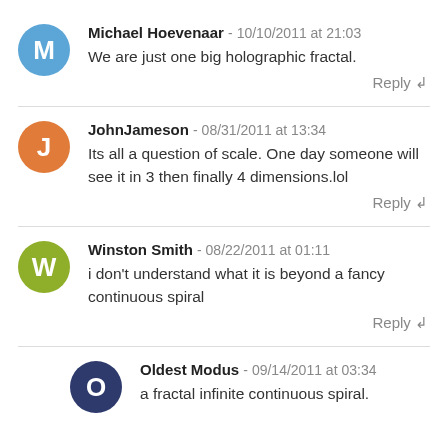Michael Hoevenaar - 10/10/2011 at 21:03
We are just one big holographic fractal.
Reply
JohnJameson - 08/31/2011 at 13:34
Its all a question of scale. One day someone will see it in 3 then finally 4 dimensions.lol
Reply
Winston Smith - 08/22/2011 at 01:11
i don't understand what it is beyond a fancy continuous spiral
Reply
Oldest Modus - 09/14/2011 at 03:34
a fractal infinite continuous spiral.